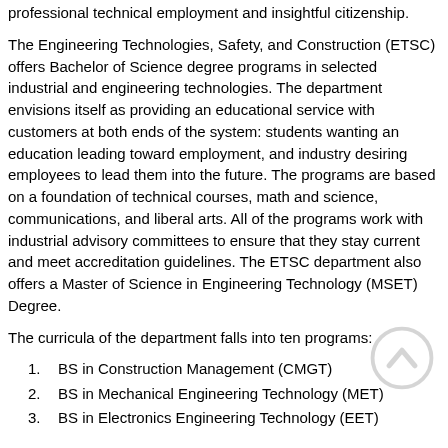professional technical employment and insightful citizenship.
The Engineering Technologies, Safety, and Construction (ETSC) offers Bachelor of Science degree programs in selected industrial and engineering technologies. The department envisions itself as providing an educational service with customers at both ends of the system: students wanting an education leading toward employment, and industry desiring employees to lead them into the future. The programs are based on a foundation of technical courses, math and science, communications, and liberal arts. All of the programs work with industrial advisory committees to ensure that they stay current and meet accreditation guidelines. The ETSC department also offers a Master of Science in Engineering Technology (MSET) Degree.
The curricula of the department falls into ten programs:
1.  BS in Construction Management (CMGT)
2.  BS in Mechanical Engineering Technology (MET)
3.  BS in Electronics Engineering Technology (EET)